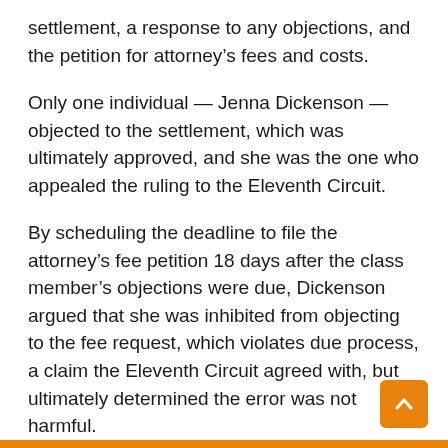settlement, a response to any objections, and the petition for attorney’s fees and costs.
Only one individual — Jenna Dickenson — objected to the settlement, which was ultimately approved, and she was the one who appealed the ruling to the Eleventh Circuit.
By scheduling the deadline to file the attorney’s fee petition 18 days after the class member’s objections were due, Dickenson argued that she was inhibited from objecting to the fee request, which violates due process, a claim the Eleventh Circuit agreed with, but ultimately determined the error was not harmful.
Next, the Court turned to the incentive award. Looking at a pair of cases from the late 1800s, it decided that the incentive award for a class representative is analogous to a salary or… cases, which is…